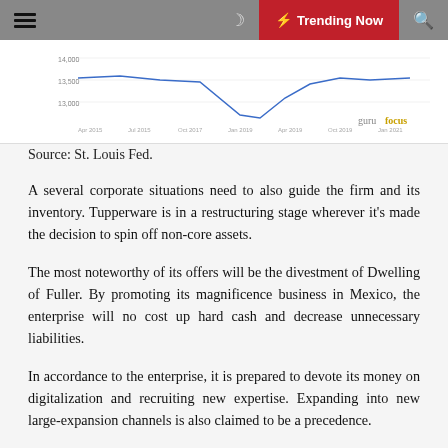☰ ☽ ⚡ Trending Now 🔍
[Figure (continuous-plot): A line chart snippet showing financial data over time with a dip and recovery, sourced from gurufocus. Axes show dates from approximately Apr 2015 to Apr 2021 and value ranges around 13000-14000.]
Source: St. Louis Fed.
A several corporate situations need to also guide the firm and its inventory. Tupperware is in a restructuring stage wherever it's made the decision to spin off non-core assets.
The most noteworthy of its offers will be the divestment of Dwelling of Fuller. By promoting its magnificence business in Mexico, the enterprise will no cost up hard cash and decrease unnecessary liabilities.
In accordance to the enterprise, it is prepared to devote its money on digitalization and recruiting new expertise. Expanding into new large-expansion channels is also claimed to be a precedence.